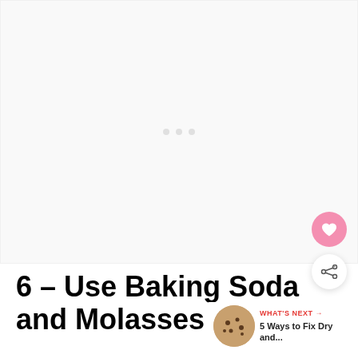[Figure (photo): Large blank/loading image area with three small grey dots in the center (loading indicator)]
6 – Use Baking Soda and Molasses
WHAT'S NEXT → 5 Ways to Fix Dry and...